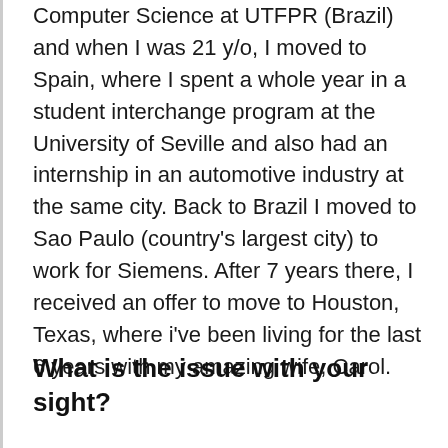Computer Science at UTFPR (Brazil) and when I was 21 y/o, I moved to Spain, where I spent a whole year in a student interchange program at the University of Seville and also had an internship in an automotive industry at the same city. Back to Brazil I moved to Sao Paulo (country's largest city) to work for Siemens. After 7 years there, I received an offer to move to Houston, Texas, where i've been living for the last 6 years with my amazing wife, Carol.
What is the issue with your sight?